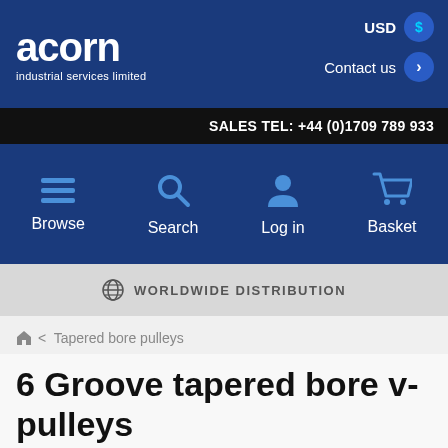[Figure (logo): Acorn Industrial Services Limited logo — white text on dark blue background]
SALES TEL: +44 (0)1709 789 933
[Figure (infographic): Navigation bar with Browse, Search, Log in, Basket icons on dark blue background]
WORLDWIDE DISTRIBUTION
< Tapered bore pulleys
6 Groove tapered bore v-pulleys
These v-pulleys have six grooves, designed to grip on to six v-belts,